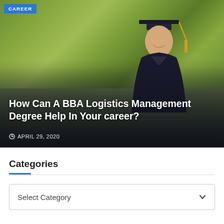[Figure (photo): A smiling male graduate wearing a black cap and gown with gold tassel, standing outdoors with trees in the background. A 'CAREER' badge appears in the top-left corner of the image.]
How Can A BBA Logistics Management Degree Help In Your career?
APRIL 29, 2020
Categories
Select Category